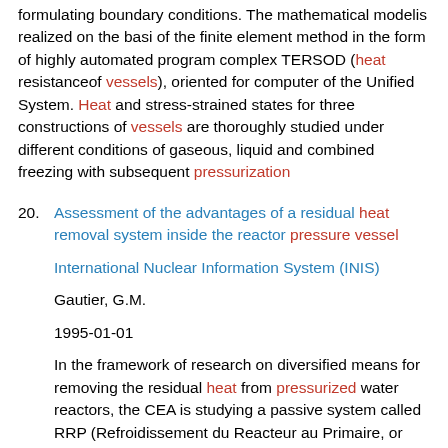formulating boundary conditions. The mathematical modelis realized on the basi of the finite element method in the form of highly automated program complex TERSOD (heat resistanceof vessels), oriented for computer of the Unified System. Heat and stress-strained states for three constructions of vessels are thoroughly studied under different conditions of gaseous, liquid and combined freezing with subsequent pressurization
20. Assessment of the advantages of a residual heat removal system inside the reactor pressure vessel

International Nuclear Information System (INIS)

Gautier, G.M.

1995-01-01

In the framework of research on diversified means for removing the residual heat from pressurized water reactors, the CEA is studying a passive system called RRP (Refroidissement du Reacteur au Primaire, or primary circuit cooling system), which includes integrated heat-exchangers and a layout of the internal structures so as to obtain convection from the primary circuit inside the vessel, whateuver the state of the loops. This system